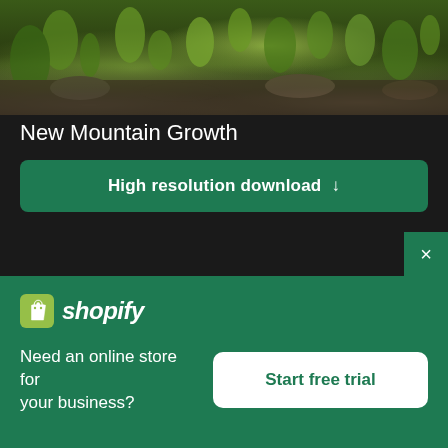[Figure (photo): Landscape photo showing rocky mountain terrain with green vegetation/cacti and dark rocks in the foreground, viewed from above]
New Mountain Growth
High resolution download ↓
[Figure (photo): Photo of a person wearing a straw hat and glasses, visible from approximately the shoulders up, against a light blue sky background]
×
[Figure (logo): Shopify logo — shopping bag icon with 'shopify' wordmark in italic white text on green background]
Need an online store for your business?
Start free trial